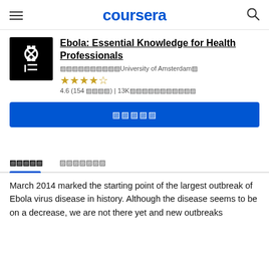coursera
Ebola: Essential Knowledge for Health Professionals
🔲🔲🔲🔲🔲🔲🔲🔲🔲🔲University of Amsterdam🔲
★★★★☆ 4.6 (154 🔲🔲🔲🔲) | 13K🔲🔲🔲🔲🔲🔲🔲🔲🔲🔲🔲
🔲🔲🔲🔲🔲 (Enroll button)
🔲🔲🔲🔲🔲   🔲🔲🔲🔲🔲🔲🔲 (Tabs)
March 2014 marked the starting point of the largest outbreak of Ebola virus disease in history. Although the disease seems to be on a decrease, we are not there yet and new outbreaks